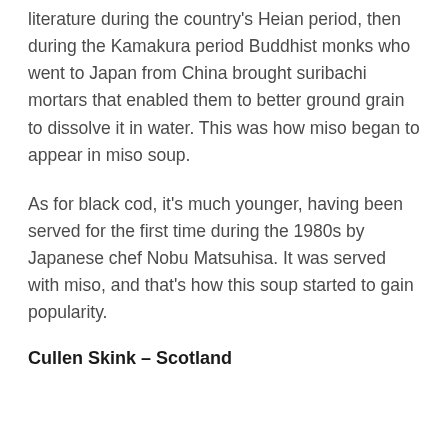literature during the country's Heian period, then during the Kamakura period Buddhist monks who went to Japan from China brought suribachi mortars that enabled them to better ground grain to dissolve it in water. This was how miso began to appear in miso soup.
As for black cod, it's much younger, having been served for the first time during the 1980s by Japanese chef Nobu Matsuhisa. It was served with miso, and that's how this soup started to gain popularity.
Cullen Skink – Scotland